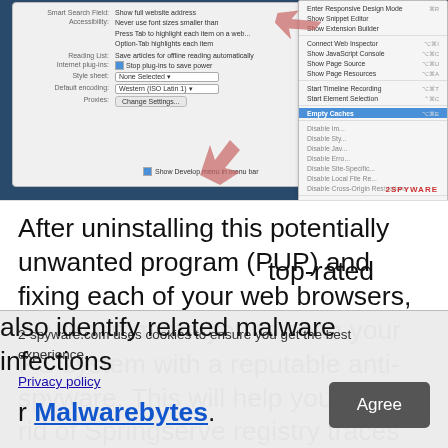[Figure (screenshot): Safari browser preferences window showing options for Smart Search Field, Accessibility, Reading List, Internet plug-ins, Style sheet, Default encoding, and Proxies, with a 'Show Develop menu in menu bar' checkbox. Overlaid with a context menu showing options including 'Empty Caches' highlighted in blue, and pink arrow annotations pointing to menu items. The 2-spyware.com watermark is visible.]
After uninstalling this potentially unwanted program (PUP) and fixing each of your web browsers, we recommend you to scan your PC system with a reputable anti-spyware. This will help you to get rid of Springserve registry traces and will also identify related malware infections and will help you remove them by top-rated security software like Malwarebytes.
2-spyware.com uses cookies to ensure you get the best experience.
Privacy policy
Agree